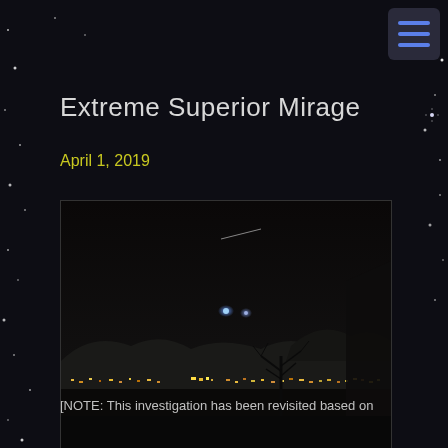Extreme Superior Mirage
April 1, 2019
[Figure (photo): Night sky photograph showing city lights on the horizon with silhouetted trees and hills. Two bright lights are visible in the dark sky, with a faint streak or trail above them. The scene appears to depict an extreme superior mirage optical phenomenon.]
[NOTE: This investigation has been revisited based on